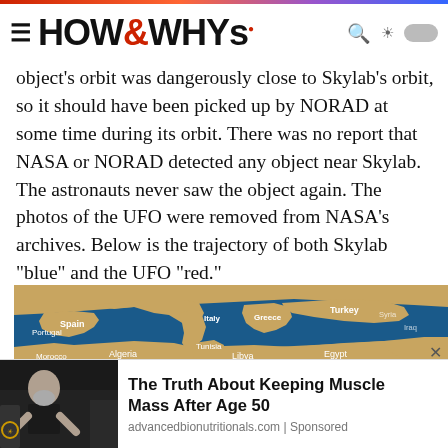HOW&WHYs
object's orbit was dangerously close to Skylab's orbit, so it should have been picked up by NORAD at some time during its orbit. There was no report that NASA or NORAD detected any object near Skylab. The astronauts never saw the object again. The photos of the UFO were removed from NASA's archives. Below is the trajectory of both Skylab “blue” and the UFO “red.”
[Figure (map): Satellite trajectory map showing Mediterranean region including Spain, Portugal, France, Italy, Greece, Turkey, Tunisia, Morocco, Algeria, Libya, Egypt and surrounding areas with blue ocean background]
The Truth About Keeping Muscle Mass After Age 50
advancedbionutritionals.com | Sponsored